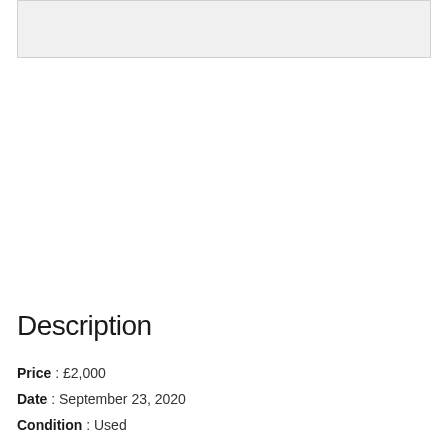[Figure (photo): Image placeholder area at the top of the page]
Description
Price : £2,000
Date : September 23, 2020
Condition : Used